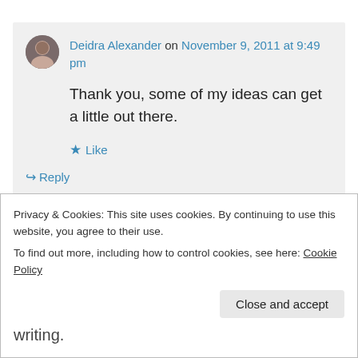Deidra Alexander on November 9, 2011 at 9:49 pm
Thank you, some of my ideas can get a little out there.
Like
Reply
Privacy & Cookies: This site uses cookies. By continuing to use this website, you agree to their use.
To find out more, including how to control cookies, see here: Cookie Policy
Close and accept
writing.